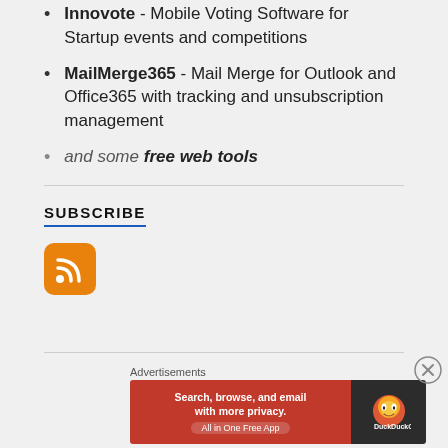Innovote - Mobile Voting Software for Startup events and competitions
MailMerge365 - Mail Merge for Outlook and Office365 with tracking and unsubscription management
and some free web tools
SUBSCRIBE
[Figure (illustration): RSS feed orange icon with white radio waves symbol]
Advertisements
[Figure (illustration): DuckDuckGo advertisement banner: Search, browse, and email with more privacy. All in One Free App.]